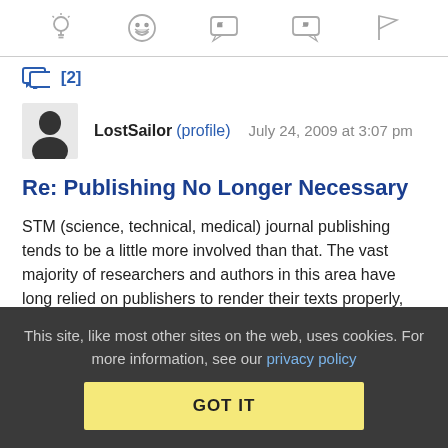[Figure (other): Toolbar with icons: lightbulb, laughing face, left quote bubble, right quote bubble, flag]
[2]
LostSailor (profile)   July 24, 2009 at 3:07 pm
Re: Publishing No Longer Necessary
STM (science, technical, medical) journal publishing tends to be a little more involved than that. The vast majority of researchers and authors in this area have long relied on publishers to render their texts properly, first in print, and then electronically. Those authors have no interest in learning the complexities of markup; for example MathML (an XML markup language for
This site, like most other sites on the web, uses cookies. For more information, see our privacy policy
GOT IT